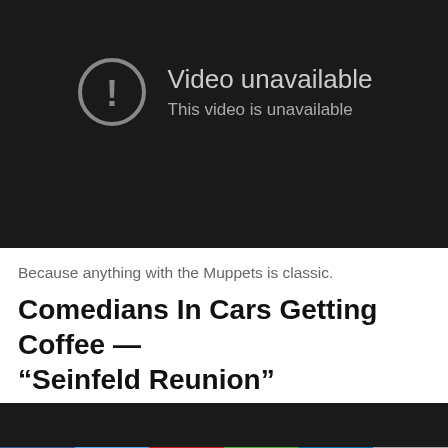[Figure (screenshot): YouTube video unavailable screen — dark background with exclamation mark icon in a circle, text 'Video unavailable' and 'This video is unavailable']
Because anything with the Muppets is classic.
Comedians In Cars Getting Coffee — “Seinfeld Reunion”
[Figure (screenshot): Dark video player background (second video embed)]
[Figure (other): Social sharing bar with Facebook, Twitter, Pinterest, Share, LinkedIn, and Email buttons]